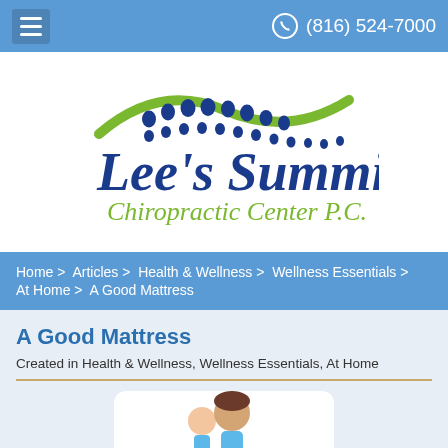(816) 524-7000
[Figure (logo): Lee's Summit Chiropractic Center P.C. logo with green wave and blue spine dots]
Home > Articles > Health & Wellness > Wellness Essentials > At Home > A Good Mattress
A Good Mattress
Created in Health & Wellness, Wellness Essentials, At Home
[Figure (photo): Woman and young girl, likely a mother and daughter, smiling]